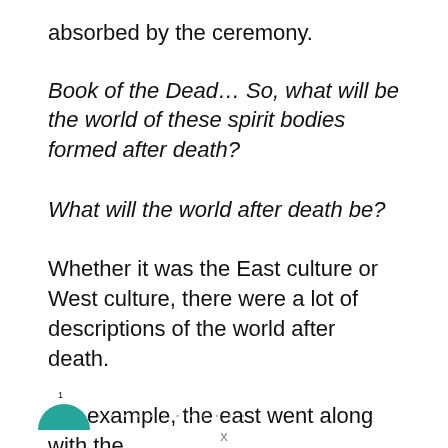absorbed by the ceremony.
Book of the Dead… So, what will be the world of these spirit bodies formed after death?
What will the world after death be?
Whether it was the East culture or West culture, there were a lot of descriptions of the world after death.
For example, the east went along with the